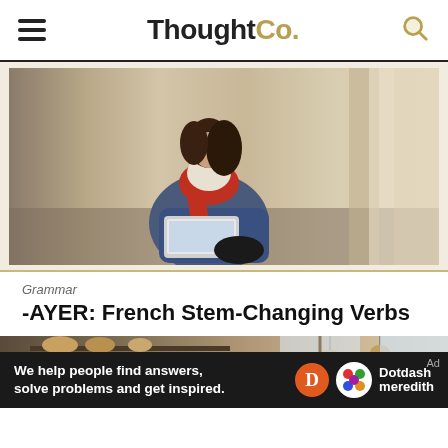ThoughtCo.
[Figure (photo): Young woman with red scarf sitting against stone wall, using a laptop computer, smiling]
Grammar
-AYER: French Stem-Changing Verbs
[Figure (photo): Interior of a bakery or cafe with wooden shelves and display cases, industrial lighting]
We help people find answers, solve problems and get inspired.